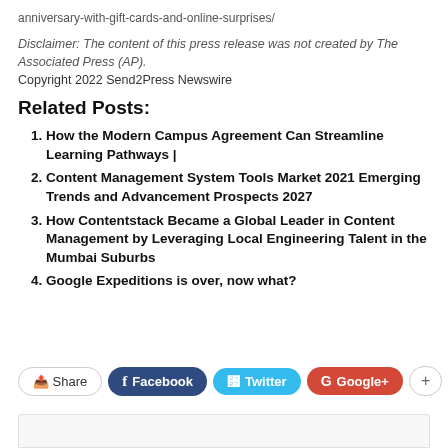anniversary-with-gift-cards-and-online-surprises/
Disclaimer: The content of this press release was not created by The Associated Press (AP).
Copyright 2022 Send2Press Newswire
Related Posts:
How the Modern Campus Agreement Can Streamline Learning Pathways |
Content Management System Tools Market 2021 Emerging Trends and Advancement Prospects 2027
How Contentstack Became a Global Leader in Content Management by Leveraging Local Engineering Talent in the Mumbai Suburbs
Google Expeditions is over, now what?